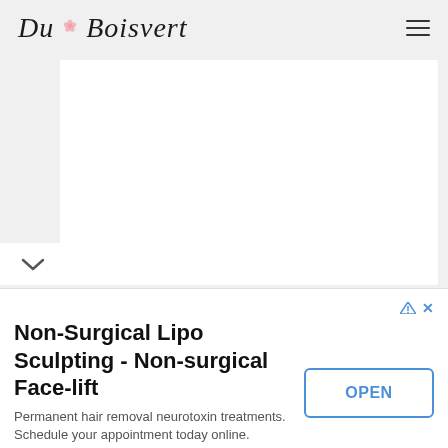Du Boisvert
[Figure (photo): White blank content area placeholder on a light gray background]
Non-Surgical Lipo Sculpting - Non-surgical Face-lift
Permanent hair removal neurotoxin treatments. Schedule your appointment today online. myhealthydermis.com